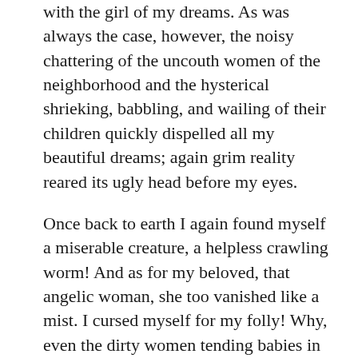with the girl of my dreams. As was always the case, however, the noisy chattering of the uncouth women of the neighborhood and the hysterical shrieking, babbling, and wailing of their children quickly dispelled all my beautiful dreams; again grim reality reared its ugly head before my eyes.
Once back to earth I again found myself a miserable creature, a helpless crawling worm! And as for my beloved, that angelic woman, she too vanished like a mist. I cursed myself for my folly! Why, even the dirty women tending babies in the streets did not so much as bother to glance in my direction. Every time I completed a new chair I was haunted by feelings of utter despair. And with the passing of the months, my long-accumulated misery was enough to choke me.
One day I was charged with the task of making a huge, leather-covered armchair, of a type I had never before